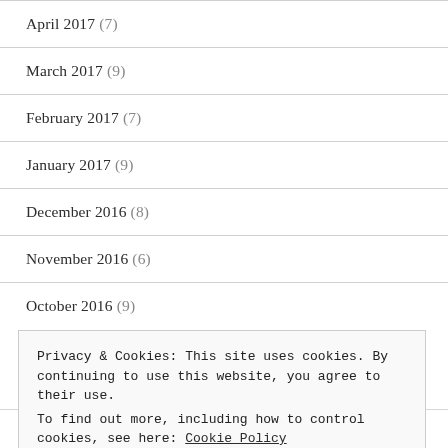April 2017 (7)
March 2017 (9)
February 2017 (7)
January 2017 (9)
December 2016 (8)
November 2016 (6)
October 2016 (9)
Privacy & Cookies: This site uses cookies. By continuing to use this website, you agree to their use.
To find out more, including how to control cookies, see here: Cookie Policy
July 2016 (13)